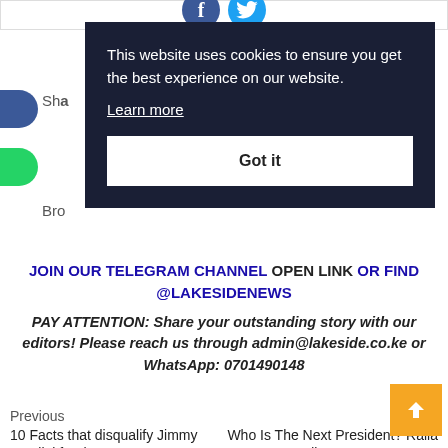[Figure (screenshot): Social media share icons: Facebook (dark blue circle with f) and Twitter (light blue circle with bird)]
[Figure (screenshot): Cookie consent overlay on dark navy background with text, Learn more link, and Got it button]
Sha
Bro
JOIN OUR TELEGRAM CHANNEL OPEN LINK OR FIND @LAKESIDENEWS
PAY ATTENTION: Share your outstanding story with our editors! Please reach us through admin@lakeside.co.ke or WhatsApp: 0701490148
Previous
10 Facts that disqualify Jimmy Wanjigi for the ODM
Who Is The Next President? Raila Odinga Beats DR Ruto